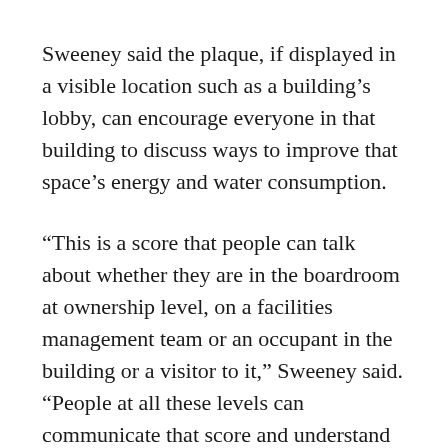Sweeney said the plaque, if displayed in a visible location such as a building’s lobby, can encourage everyone in that building to discuss ways to improve that space’s energy and water consumption.
“This is a score that people can talk about whether they are in the boardroom at ownership level, on a facilities management team or an occupant in the building or a visitor to it,” Sweeney said. “People at all these levels can communicate that score and understand what makes a building more energy efficient.”